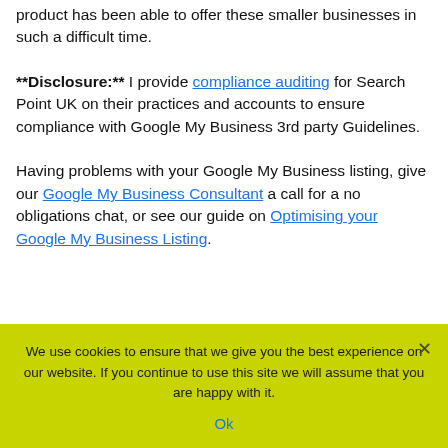product has been able to offer these smaller businesses in such a difficult time.
**Disclosure:** I provide compliance auditing for Search Point UK on their practices and accounts to ensure compliance with Google My Business 3rd party Guidelines.
Having problems with your Google My Business listing, give our Google My Business Consultant a call for a no obligations chat, or see our guide on Optimising your Google My Business Listing.
We use cookies to ensure that we give you the best experience on our website. If you continue to use this site we will assume that you are happy with it. Ok